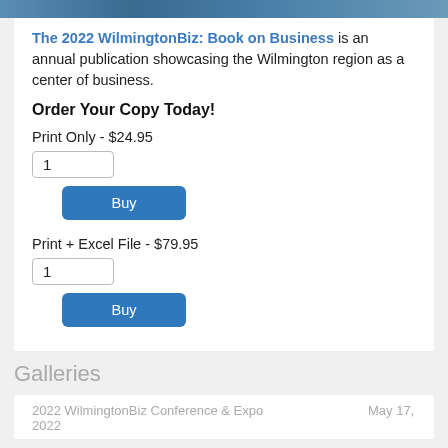[Figure (photo): Top banner image showing a crowd of people at a business event]
The 2022 WilmingtonBiz: Book on Business is an annual publication showcasing the Wilmington region as a center of business.
Order Your Copy Today!
Print Only - $24.95
1
Buy
Print + Excel File - $79.95
1
Buy
Galleries
2022 WilmingtonBiz Conference & Expo ...